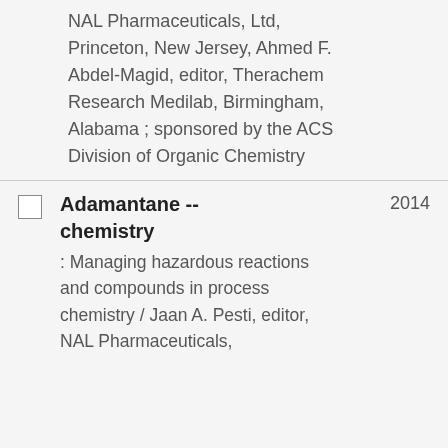NAL Pharmaceuticals, Ltd, Princeton, New Jersey, Ahmed F. Abdel-Magid, editor, Therachem Research Medilab, Birmingham, Alabama ; sponsored by the ACS Division of Organic Chemistry
Adamantane -- chemistry
2014
: Managing hazardous reactions and compounds in process chemistry / Jaan A. Pesti, editor, NAL Pharmaceuticals,